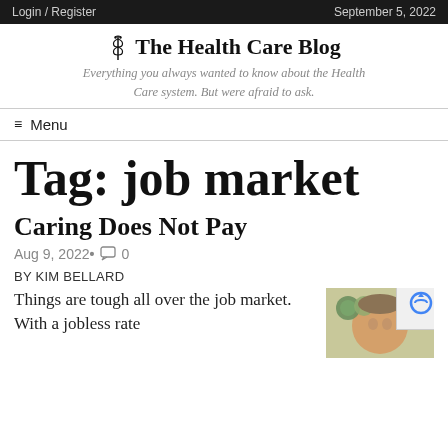Login / Register | September 5, 2022
The Health Care Blog
Everything you always wanted to know about the Health Care system. But were afraid to ask.
Menu
Tag: job market
Caring Does Not Pay
Aug 9, 2022 • 0
BY KIM BELLARD
Things are tough all over the job market. With a jobless rate